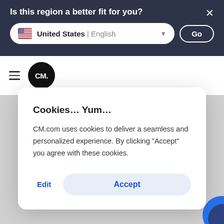Is this region a better fit for you?
United States | English
Go
[Figure (logo): CM. logo — white text on black circle]
Cookies… Yum…
CM.com uses cookies to deliver a seamless and personalized experience. By clicking "Accept" you agree with these cookies.
Edit
Accept